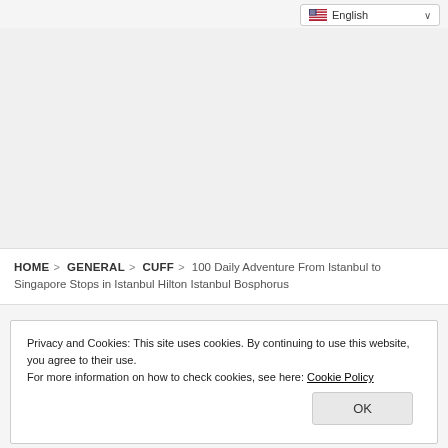[Figure (screenshot): Language selector dropdown showing English with US flag and chevron]
HOME > GENERAL > CUFF > 100 Daily Adventure From Istanbul to Singapore Stops in Istanbul Hilton Istanbul Bosphorus
Privacy and Cookies: This site uses cookies. By continuing to use this website, you agree to their use.
For more information on how to check cookies, see here: Cookie Policy
OK